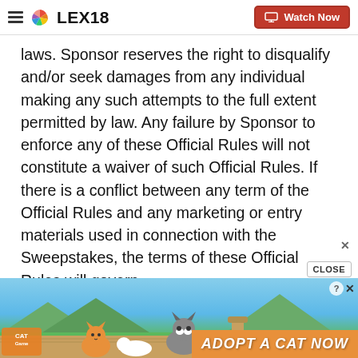LEX18 | Watch Now
laws. Sponsor reserves the right to disqualify and/or seek damages from any individual making any such attempts to the full extent permitted by law. Any failure by Sponsor to enforce any of these Official Rules will not constitute a waiver of such Official Rules. If there is a conflict between any term of the Official Rules and any marketing or entry materials used in connection with the Sweepstakes, the terms of these Official Rules will govern.
[Figure (photo): Advertisement banner for 'Cat Game' mobile app showing cartoon cats and text 'ADOPT A CAT NOW' on an orange background with a blue sky landscape.]